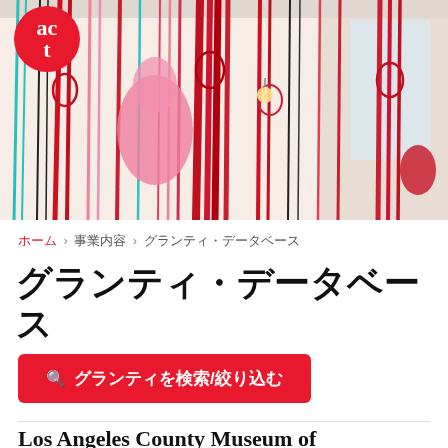[Figure (photo): Hero image of an art installation with colorful yarn/thread hanging from ceiling in red, pink, teal and black colors, with a figure in pink clothing visible among the threads.]
ホーム › 事業内容 › グランティ・データベース
グランティ・データベース
🔍　グランティを検索/絞り込む
Los Angeles County Museum of